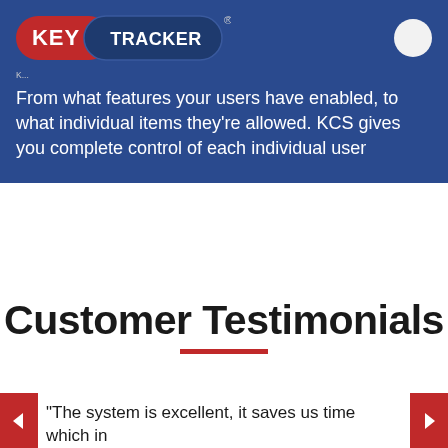[Figure (logo): Key Tracker logo — red pill shape with white 'KEY' text, dark blue pill shape with white 'TRACKER' text, registered trademark symbol, on dark blue background. White circle icon in top right.]
From what features your users have enabled, to what individual items they're allowed. KCS gives you complete control of each individual user
Customer Testimonials
“The system is excellent, it saves us time which in